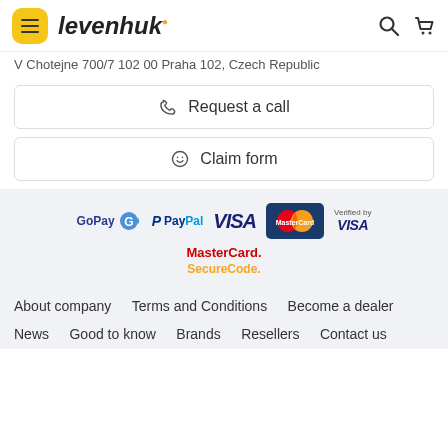levenhuk
V Chotejne 700/7 102 00 Praha 102, Czech Republic
Request a call
Claim form
[Figure (logo): Payment method logos: GoPay, PayPal, VISA, MasterCard, Verified by VISA, MasterCard SecureCode]
About company   Terms and Conditions   Become a dealer   News   Good to know   Brands   Resellers   Contact us